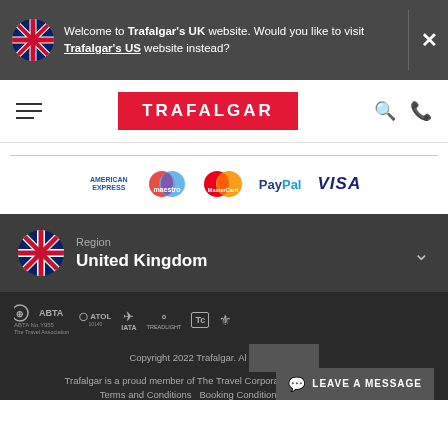Welcome to Trafalgar's UK website. Would you like to visit Trafalgar's US website instead?
[Figure (logo): Trafalgar logo in red box, hamburger menu, search and phone icons]
[Figure (logo): Payment logos: American Express, Maestro, MasterCard, PayPal, VISA]
Region
United Kingdom
[Figure (logo): Footer logos: ABTA, ATOL, IATA, Treadlight, Tc, and Trafalgar wing logo]
Copyright 2022 Trafalgar. All rights reserved.
Trafalgar is a proud member of The Travel Corporation family of companies.
Terms and Conditions  Booking Conditions  Privacy Policy